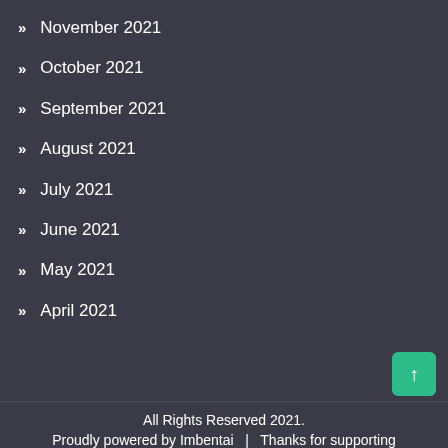November 2021
October 2021
September 2021
August 2021
July 2021
June 2021
May 2021
April 2021
All Rights Reserved 2021.
Proudly powered by Imbentai   |   Thanks for supporting